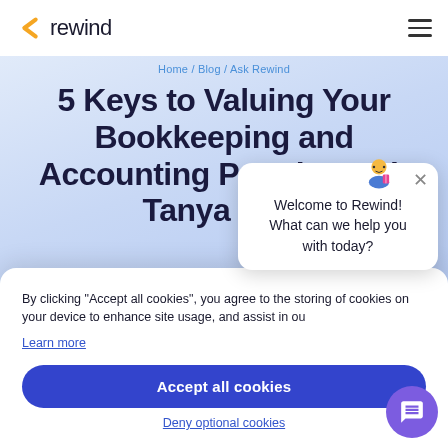rewind
Home / Blog / Ask Rewind
5 Keys to Valuing Your Bookkeeping and Accounting Practice with Tanya Hilts
By clicking "Accept all cookies", you agree to the storing of cookies on your device to enhance site usage, and assist in our
Learn more
Accept all cookies
Deny optional cookies
Welcome to Rewind! What can we help you with today?